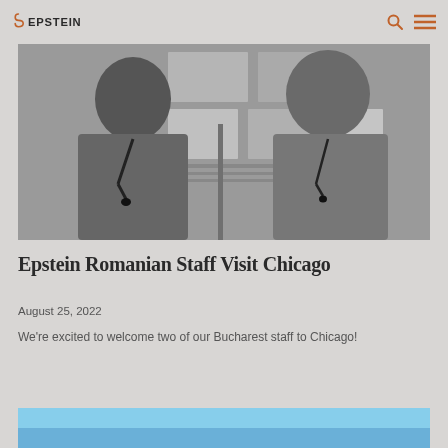EPSTEIN
[Figure (photo): Black and white photo of two men standing in front of a wall with architectural drawings and images pinned to it]
Epstein Romanian Staff Visit Chicago
August 25, 2022
We're excited to welcome two of our Bucharest staff to Chicago!
[Figure (photo): Partial view of a second photo, showing a blue sky, partially cropped at the bottom of the page]